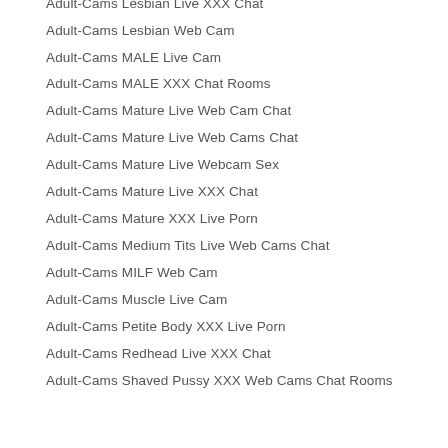Adult-Cams Lesbian Live XXX Chat
Adult-Cams Lesbian Web Cam
Adult-Cams MALE Live Cam
Adult-Cams MALE XXX Chat Rooms
Adult-Cams Mature Live Web Cam Chat
Adult-Cams Mature Live Web Cams Chat
Adult-Cams Mature Live Webcam Sex
Adult-Cams Mature Live XXX Chat
Adult-Cams Mature XXX Live Porn
Adult-Cams Medium Tits Live Web Cams Chat
Adult-Cams MILF Web Cam
Adult-Cams Muscle Live Cam
Adult-Cams Petite Body XXX Live Porn
Adult-Cams Redhead Live XXX Chat
Adult-Cams Shaved Pussy XXX Web Cams Chat Rooms